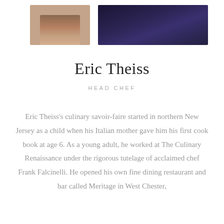[Figure (photo): Two partial portrait photos at top: left shows a person's torso/arm in warm tones, right shows a person in dark navy/purple background]
Eric Theiss
HEAD CHEF
Eric Theiss's culinary savoir-faire started in northern New Jersey as a child when his Italian mother gave him his first cook book at age 6. As a young adult, he worked at The Culinary Renaissance under the rigorous tutelage of acclaimed chef Frank Falcinelli. He opened his own fine dining restaurant and bar called Meritage in West Chester,